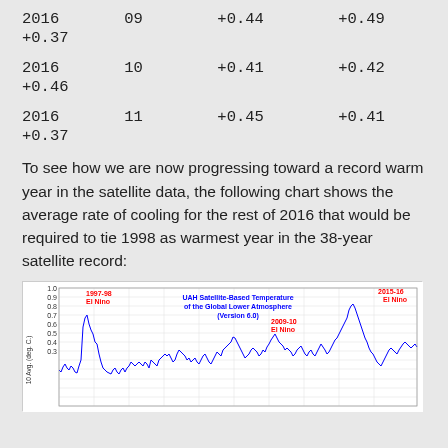2016   09   +0.44   +0.49   +0.39
+0.37
2016   10   +0.41   +0.42   +0.39
+0.46
2016   11   +0.45   +0.41   +0.50
+0.37
To see how we are now progressing toward a record warm year in the satellite data, the following chart shows the average rate of cooling for the rest of 2016 that would be required to tie 1998 as warmest year in the 38-year satellite record:
[Figure (line-chart): Line chart showing UAH satellite-based temperature anomalies of the global lower atmosphere (Version 6.0) from late 1970s to 2016. Highlights El Nino events: 1997-98, 2009-10, and 2015-16. Y-axis shows temperature in deg C from about -0.3 to 1.0.]